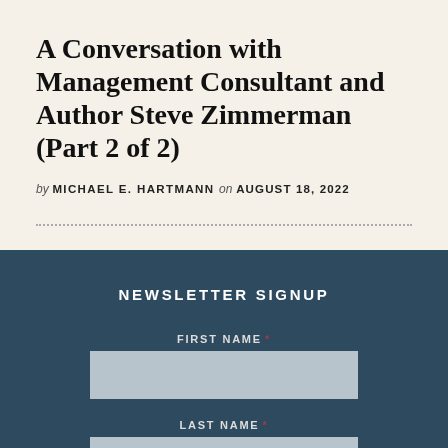A Conversation with Management Consultant and Author Steve Zimmerman (Part 2 of 2)
by MICHAEL E. HARTMANN on AUGUST 18, 2022
NEWSLETTER SIGNUP
FIRST NAME *
LAST NAME *